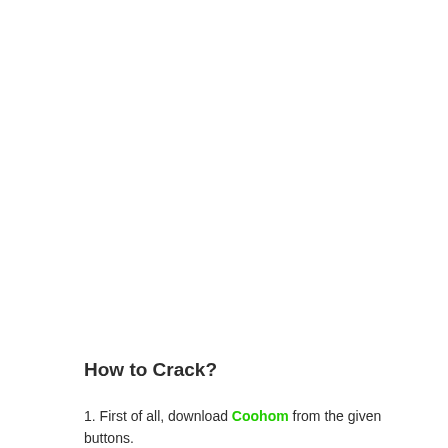How to Crack?
1. First of all, download Coohom from the given buttons.